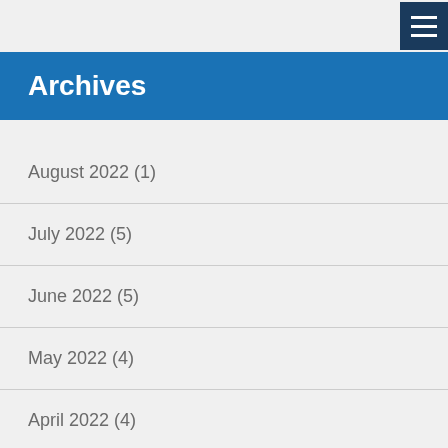Archives
August 2022 (1)
July 2022 (5)
June 2022 (5)
May 2022 (4)
April 2022 (4)
March 2022 (6)
February 2022 (5)